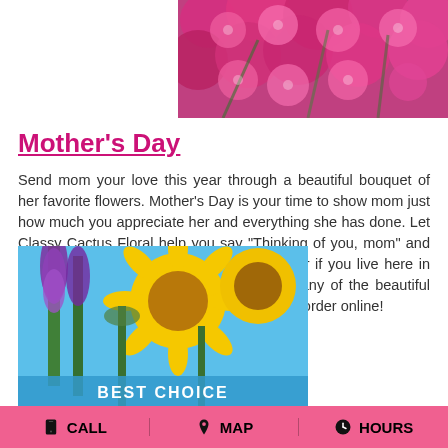[Figure (photo): Close-up of pink and magenta flowers (carnations and chrysanthemums), top right corner of page]
Mother's Day
Send mom your love this year through a beautiful bouquet of her favorite flowers. Mother's Day is your time to show mom just how much you appreciate her and everything she has done. Let Classy Cactus Floral help you say "Thinking of you, mom" and "I love you always" with flowers -- no matter if you live here in Baker, or across the country. Simply click any of the beautiful Mother's Day flower arrangements above to order online!
[Figure (photo): Tall purple liatris flowers and large yellow sunflowers against a bright blue sky, with a banner partially visible at the bottom reading 'BEST CHOICE']
CALL  MAP  HOURS